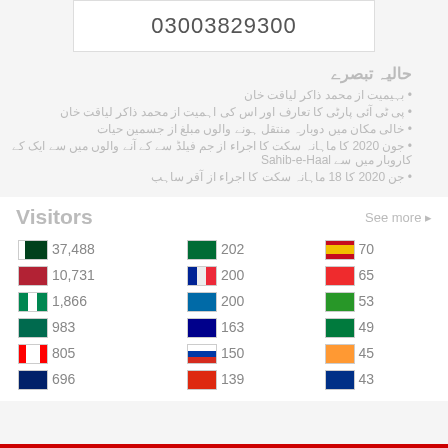03003829300
حالیہ تبصرے
بہیمیت از محمد ذاکر لیاقت خان
پی ٹی آئی پارٹی کا تعارف اور اس کی اہمیت از محمد ذاکر لیاقت خان
خالی مکان میں دوبارہ منتقل ہونے والی مبلغ از جسمین حیات
جون 2020 کا ماہانہ سکت کا اجراء از جم فیلڈ سے کے آنے والوں میں سے ایک کے کاروبار میں سے Sahib-e-Haal
جن 2020 کا 18 ماہانہ سکت کا اجراء از آقر ساہب
Visitors
See more ▸
| Flag | Count | Flag | Count | Flag | Count |
| --- | --- | --- | --- | --- | --- |
| 🇵🇰 | 37,488 | 🇸🇦 | 202 | 🇪🇸 | 70 |
| 🇺🇸 | 10,731 | 🇫🇷 | 200 | 🇳🇴 | 65 |
| 🇳🇬 | 1,866 | 🇸🇪 | 200 | 🇨🇬 | 53 |
| 🇧🇩 | 983 | 🇦🇺 | 163 | 🇰🇼 | 49 |
| 🇨🇦 | 805 | 🇷🇺 | 150 | 🇮🇳 | 45 |
| 🇬🇧 | 696 | 🇨🇳 | 139 | 🇦🇺 | 43 |